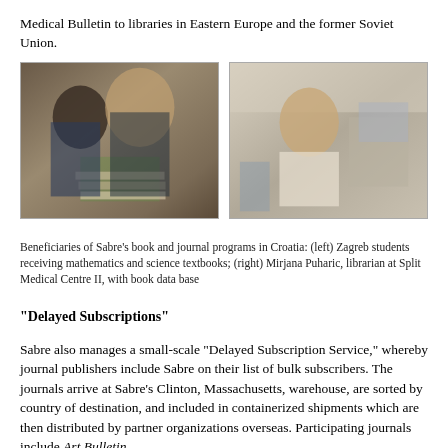Medical Bulletin to libraries in Eastern Europe and the former Soviet Union.
[Figure (photo): Two photos side by side: (left) Zagreb students receiving mathematics and science textbooks; (right) Mirjana Puharic, librarian at Split Medical Centre II, with book data base]
Beneficiaries of Sabre's book and journal programs in Croatia: (left) Zagreb students receiving mathematics and science textbooks; (right) Mirjana Puharic, librarian at Split Medical Centre II, with book data base
"Delayed Subscriptions"
Sabre also manages a small-scale "Delayed Subscription Service," whereby journal publishers include Sabre on their list of bulk subscribers. The journals arrive at Sabre's Clinton, Massachusetts, warehouse, are sorted by country of destination, and included in containerized shipments which are then distributed by partner organizations overseas. Participating journals include Art Bulletin